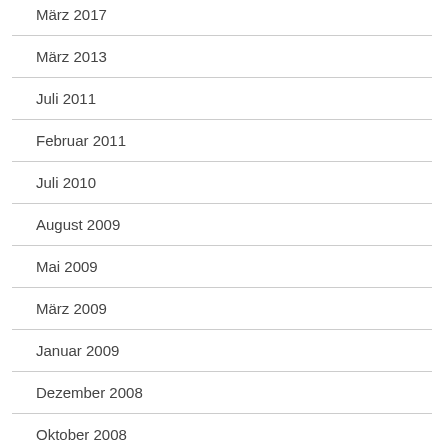März 2017
März 2013
Juli 2011
Februar 2011
Juli 2010
August 2009
Mai 2009
März 2009
Januar 2009
Dezember 2008
Oktober 2008
August 2008
Mai 2008